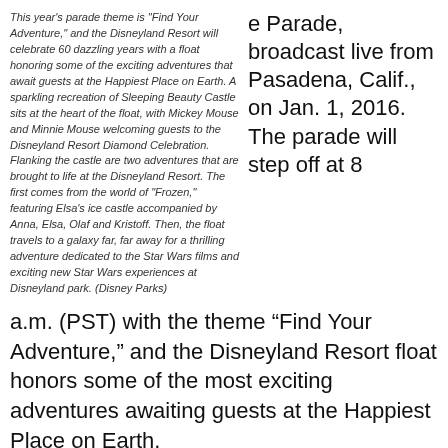This year's parade theme is "Find Your Adventure," and the Disneyland Resort will celebrate 60 dazzling years with a float honoring some of the exciting adventures that await guests at the Happiest Place on Earth. A sparkling recreation of Sleeping Beauty Castle sits at the heart of the float, with Mickey Mouse and Minnie Mouse welcoming guests to the Disneyland Resort Diamond Celebration. Flanking the castle are two adventures that are brought to life at the Disneyland Resort. The first comes from the world of "Frozen," featuring Elsa's ice castle accompanied by Anna, Elsa, Olaf and Kristoff. Then, the float travels to a galaxy far, far away for a thrilling adventure dedicated to the Star Wars films and exciting new Star Wars experiences at Disneyland park. (Disney Parks)
e Parade, broadcast live from Pasadena, Calif., on Jan. 1, 2016. The parade will step off at 8
a.m. (PST) with the theme “Find Your Adventure,” and the Disneyland Resort float honors some of the most exciting adventures awaiting guests at the Happiest Place on Earth.
At the heart of the float will be a sparkling recreation of Sleeping Beauty Castle, complete with Mickey Mouse and Minnie Mouse welcoming everyone to the Disneyland Resort Diamond Celebration. Flanking the castle are two adventures that are brought to life at the Disneyland Resort. The first